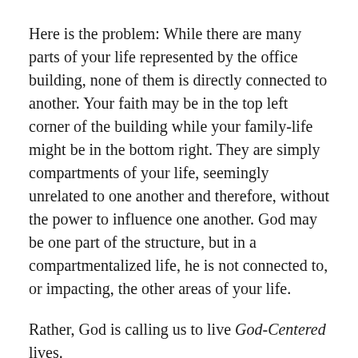Here is the problem: While there are many parts of your life represented by the office building, none of them is directly connected to another. Your faith may be in the top left corner of the building while your family-life might be in the bottom right. They are simply compartments of your life, seemingly unrelated to one another and therefore, without the power to influence one another. God may be one part of the structure, but in a compartmentalized life, he is not connected to, or impacting, the other areas of your life.
Rather, God is calling us to live God-Centered lives.